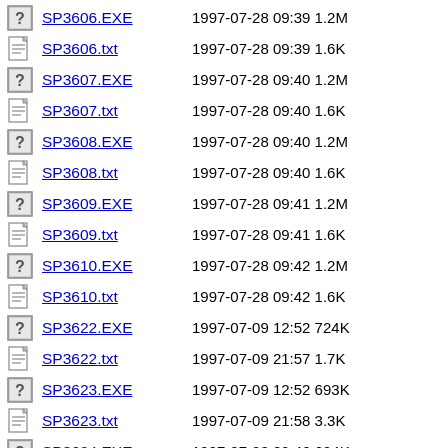SP3606.EXE  1997-07-28 09:39 1.2M
SP3606.txt  1997-07-28 09:39 1.6K
SP3607.EXE  1997-07-28 09:40 1.2M
SP3607.txt  1997-07-28 09:40 1.6K
SP3608.EXE  1997-07-28 09:40 1.2M
SP3608.txt  1997-07-28 09:40 1.6K
SP3609.EXE  1997-07-28 09:41 1.2M
SP3609.txt  1997-07-28 09:41 1.6K
SP3610.EXE  1997-07-28 09:42 1.2M
SP3610.txt  1997-07-28 09:42 1.6K
SP3622.EXE  1997-07-09 12:52 724K
SP3622.txt  1997-07-09 21:57 1.7K
SP3623.EXE  1997-07-09 12:52 693K
SP3623.txt  1997-07-09 21:58 3.3K
SP3624.EXE  1997-07-28 09:46 694K
SP3624.txt  1997-07-28 09:46 3.3K
SP3625.EXE  1997-07-28 09:46 695K